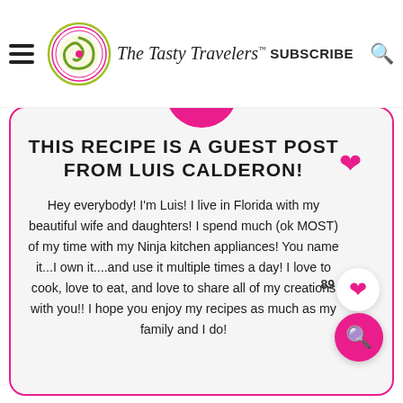The Tasty Travelers — SUBSCRIBE
THIS RECIPE IS A GUEST POST FROM LUIS CALDERON!
Hey everybody! I'm Luis! I live in Florida with my beautiful wife and daughters! I spend much (ok MOST) of my time with my Ninja kitchen appliances! You name it...I own it....and use it multiple times a day! I love to cook, love to eat, and love to share all of my creations with you!! I hope you enjoy my recipes as much as my family and I do!